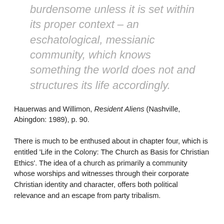burdensome unless it is set within its proper context – an eschatological, messianic community, which knows something the world does not and structures its life accordingly.
Hauerwas and Willimon, Resident Aliens (Nashville, Abingdon: 1989), p. 90.
There is much to be enthused about in chapter four, which is entitled 'Life in the Colony: The Church as Basis for Christian Ethics'. The idea of a church as primarily a community whose worships and witnesses through their corporate Christian identity and character, offers both political relevance and an escape from party tribalism.